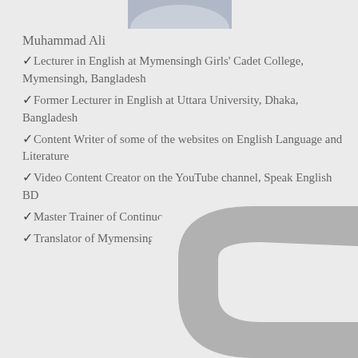[Figure (photo): Partial photo of a person at the top of the page, cropped]
Muhammad Ali
Lecturer in English at Mymensingh Girls' Cadet College, Mymensingh, Bangladesh
Former Lecturer in English at Uttara University, Dhaka, Bangladesh
Content Writer of some of the websites on English Language and Literature
Video Content Creator on the YouTube channel, Speak English BD
Master Trainer of Continuous Assessment (CA)
Translator of Mymensingh Education Board, Bangladesh
[Figure (illustration): Large grey curved shape / logo decoration in the bottom right of the page]